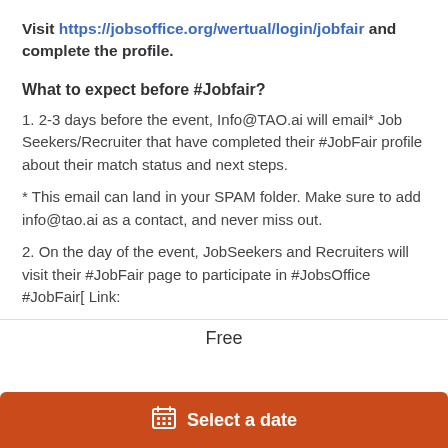Visit https://jobsoffice.org/wertual/login/jobfair and complete the profile.
What to expect before #Jobfair?
1. 2-3 days before the event, Info@TAO.ai will email* Job Seekers/Recruiter that have completed their #JobFair profile about their match status and next steps.
* This email can land in your SPAM folder. Make sure to add info@tao.ai as a contact, and never miss out.
2. On the day of the event, JobSeekers and Recruiters will visit their #JobFair page to participate in #JobsOffice #JobFair[ Link:
Free
Select a date